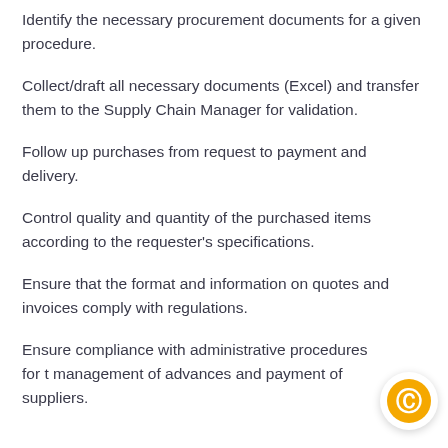Identify the necessary procurement documents for a given procedure.
Collect/draft all necessary documents (Excel) and transfer them to the Supply Chain Manager for validation.
Follow up purchases from request to payment and delivery.
Control quality and quantity of the purchased items according to the requester's specifications.
Ensure that the format and information on quotes and invoices comply with regulations.
Ensure compliance with administrative procedures for the management of advances and payment of suppliers.